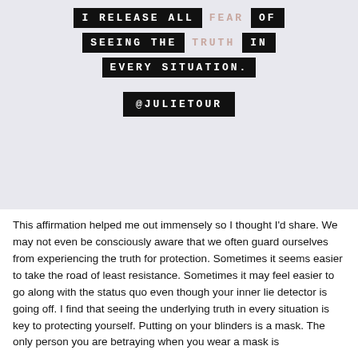[Figure (illustration): Social media affirmation graphic on a light gray/blue background. Text in black pill-shaped boxes and rose-colored text reads: I RELEASE ALL FEAR OF SEEING THE TRUTH IN EVERY SITUATION. Handle @JULIETOUR in a black box at the bottom.]
This affirmation helped me out immensely so I thought I'd share. We may not even be consciously aware that we often guard ourselves from experiencing the truth for protection. Sometimes it seems easier to take the road of least resistance. Sometimes it may feel easier to go along with the status quo even though your inner lie detector is going off. I find that seeing the underlying truth in every situation is key to protecting yourself. Putting on your blinders is a mask. The only person you are betraying when you wear a mask is